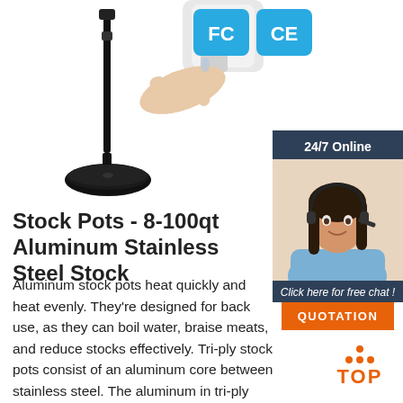[Figure (photo): Microphone stand with round black base on white background]
[Figure (logo): FCC certification badge (blue square with FC text)]
[Figure (logo): CE certification badge (blue square with CE text)]
[Figure (photo): Hand near white automatic soap/sanitizer dispenser]
[Figure (infographic): 24/7 Online chat support sidebar with customer service agent photo, 'Click here for free chat!' text, and orange QUOTATION button]
Stock Pots - 8-100qt Aluminum Stainless Steel Stock
Aluminum stock pots heat quickly and heat evenly. They're designed for back use, as they can boil water, braise meats, and reduce stocks effectively. Tri-ply stock pots consist of an aluminum core between stainless steel. The aluminum in tri-ply stock pots heats quickly while the steel retains heat and provides
[Figure (logo): TOP logo with orange dots forming triangle above the word TOP]